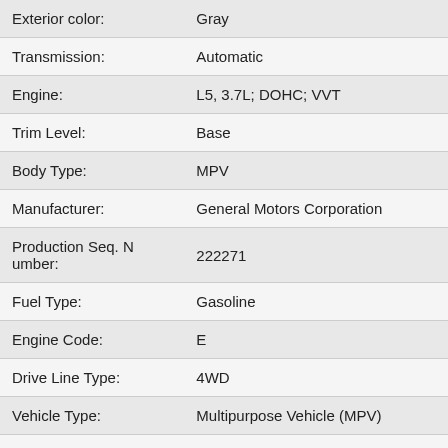| Attribute | Value |
| --- | --- |
| Exterior color: | Gray |
| Transmission: | Automatic |
| Engine: | L5, 3.7L; DOHC; VVT |
| Trim Level: | Base |
| Body Type: | MPV |
| Manufacturer: | General Motors Corporation |
| Production Seq. Number: | 222271 |
| Fuel Type: | Gasoline |
| Engine Code: | E |
| Drive Line Type: | 4WD |
| Vehicle Type: | Multipurpose Vehicle (MPV) |
| Vehicle Class: | Mid-size MPV |
| Brake System: | Hydraulic |
| Country: | UNITED STATES |